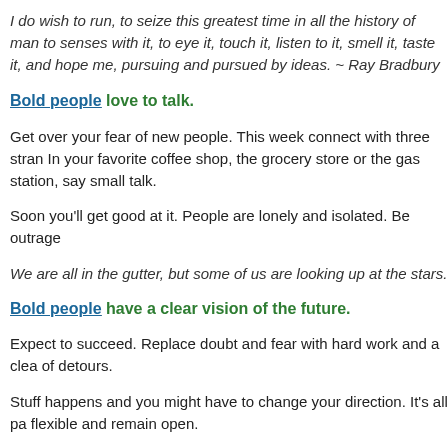I do wish to run, to seize this greatest time in all the history of man to senses with it, to eye it, touch it, listen to it, smell it, taste it, and hope me, pursuing and pursued by ideas. ~ Ray Bradbury
Bold people love to talk.
Get over your fear of new people. This week connect with three stran. In your favorite coffee shop, the grocery store or the gas station, say small talk.
Soon you'll get good at it. People are lonely and isolated. Be outrage
We are all in the gutter, but some of us are looking up at the stars.
Bold people have a clear vision of the future.
Expect to succeed. Replace doubt and fear with hard work and a clea of detours.
Stuff happens and you might have to change your direction. It's all pa flexible and remain open.